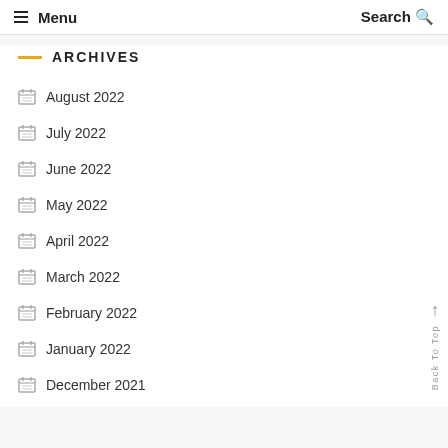≡ Menu   Search 🔍
ARCHIVES
August 2022
July 2022
June 2022
May 2022
April 2022
March 2022
February 2022
January 2022
December 2021